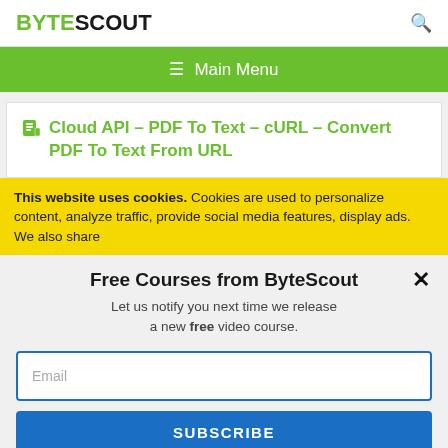BYTESCOUT
[Figure (screenshot): Green navigation bar with hamburger menu icon and Main Menu label]
Cloud API – PDF To Text – cURL – Convert PDF To Text From URL
This website uses cookies. Cookies are used to personalize content, analyze traffic, provide social media features, display ads. We also share
Free Courses from ByteScout
Let us notify you next time we release a new free video course.
Email
SUBSCRIBE